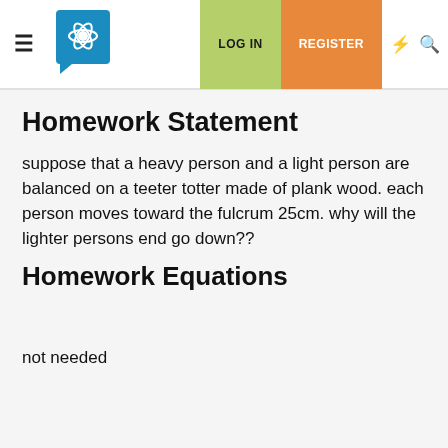LOG IN | REGISTER
Homework Statement
suppose that a heavy person and a light person are balanced on a teeter totter made of plank wood. each person moves toward the fulcrum 25cm. why will the lighter persons end go down??
Homework Equations
not needed